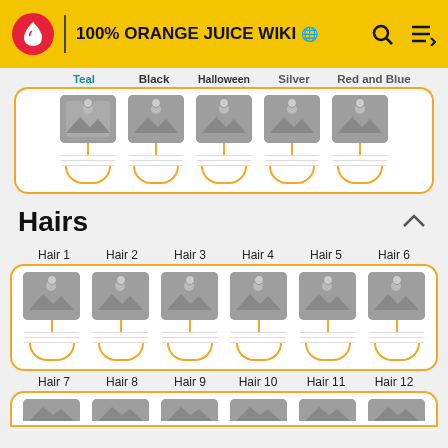100% ORANGE JUICE WIKI
Teal  Black  Halloween  Silver  Red and Blue
[Figure (illustration): Row of 5 costume/skin cards with orange rounded-rectangle border, each showing a placeholder image icon (mountain/photo placeholder in grey), a dot connector, stem line, horizontal rules, and orange U-shape connector below]
Hairs
Hair 1  Hair 2  Hair 3  Hair 4  Hair 5  Hair 6
[Figure (illustration): Row of 6 hair variant cards with orange rounded-rectangle border, each showing a placeholder image icon, dot connector, stem, horizontal rules, and orange U-shape connector]
Hair 7  Hair 8  Hair 9  Hair 10  Hair 11  Hair 12
[Figure (illustration): Partial row of hair variant cards (Hair 13+) cut off at bottom of page]